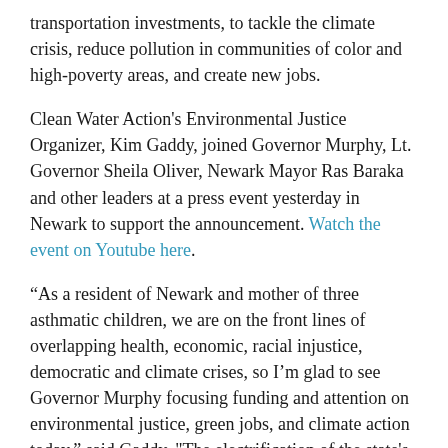transportation investments, to tackle the climate crisis, reduce pollution in communities of color and high-poverty areas, and create new jobs.
Clean Water Action's Environmental Justice Organizer, Kim Gaddy, joined Governor Murphy, Lt. Governor Sheila Oliver, Newark Mayor Ras Baraka and other leaders at a press event yesterday in Newark to support the announcement. Watch the event on Youtube here.
“As a resident of Newark and mother of three asthmatic children, we are on the front lines of overlapping health, economic, racial injustice, democratic and climate crises, so I’m glad to see Governor Murphy focusing funding and attention on environmental justice, green jobs, and climate action today,” said Gaddy. "The electrification of the state's transportation sector can't happen fast enough. Gradual, incremental steps just won't do. The price we pay every day - increased asthma attacks, cancers, heart attacks and death - is unacceptable."
Governor Murphy’s environmental actions include the